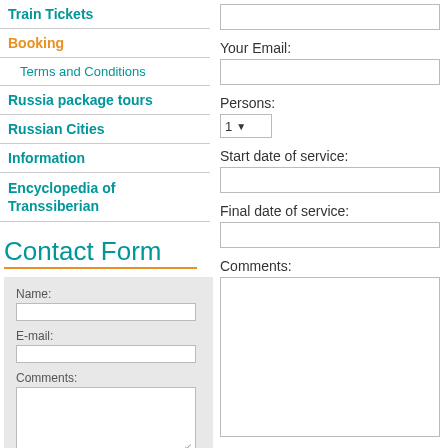Train Tickets
Booking
Terms and Conditions
Russia package tours
Russian Cities
Information
Encyclopedia of Transsiberian
Contact Form
Name: [input]
E-mail: [input]
Comments: [textarea]
How much is 4 × 1 = [input]
Your Email: [input]
Persons: 1 [dropdown]
Start date of service: [input]
Final date of service: [input]
Comments: [textarea]